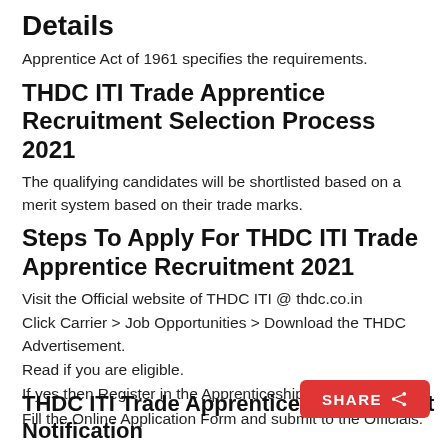Details
Apprentice Act of 1961 specifies the requirements.
THDC ITI Trade Apprentice Recruitment Selection Process 2021
The qualifying candidates will be shortlisted based on a merit system based on their trade marks.
Steps To Apply For THDC ITI Trade Apprentice Recruitment 2021
Visit the Official website of THDC ITI @ thdc.co.in
Click Carrier > Job Opportunities > Download the THDC Advertisement.
Read if you are eligible.
If yes then Register in the Apprenticeship Portal.
Fill the Online Application Form and submit to the Officials.
THDC ITI Trade Apprentice Recruitment Notification